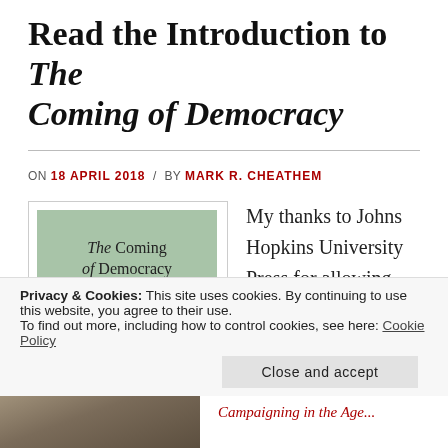Read the Introduction to The Coming of Democracy
ON 18 APRIL 2018 / BY MARK R. CHEATHEM
[Figure (photo): Book cover of The Coming of Democracy: Presidential Campaigning in the Age of Jackson by Mark R. Cheathem, with a green/sage background]
My thanks to Johns Hopkins University Press for allowing me to post the
Privacy & Cookies: This site uses cookies. By continuing to use this website, you agree to their use.
To find out more, including how to control cookies, see here: Cookie Policy
Close and accept
[Figure (photo): Partial portrait image at bottom left, sepia-toned historical figure]
Campaigning in the Age of...